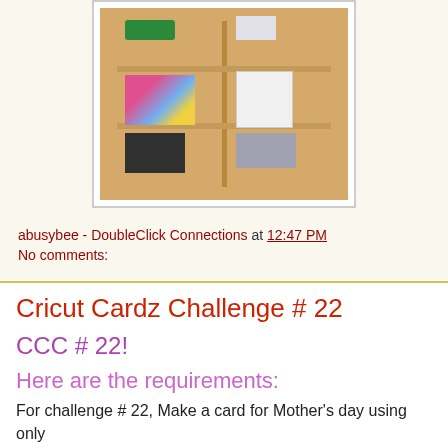[Figure (photo): Photo of an open wooden craft supply cabinet with shelves containing colorful craft supplies, paper, baskets, bottles, and storage boxes]
abusybee - DoubleClick Connections at 12:47 PM
No comments:
Cricut Cardz Challenge # 22
CCC # 22!
Here are the requirements:
For challenge # 22, Make a card for Mother's day using only